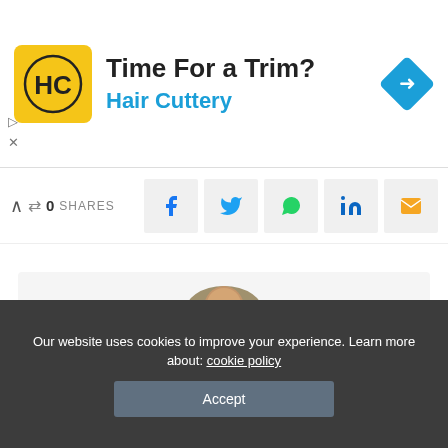[Figure (infographic): Hair Cuttery advertisement banner with yellow logo showing HC initials, headline 'Time For a Trim?' and blue navigation arrow icon]
0 SHARES
[Figure (infographic): Social share buttons row: Facebook, Twitter, WhatsApp, LinkedIn, Email]
[Figure (photo): Headshot photo of Rhys Gregory, a man with short hair wearing a dark top, circular cropped]
Rhys Gregory
View More Posts
Our website uses cookies to improve your experience. Learn more about: cookie policy
Accept